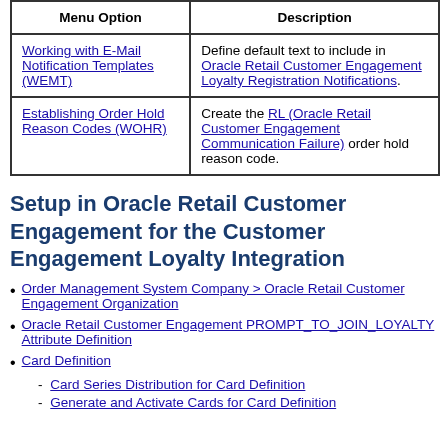| Menu Option | Description |
| --- | --- |
| Working with E-Mail Notification Templates (WEMT) | Define default text to include in Oracle Retail Customer Engagement Loyalty Registration Notifications. |
| Establishing Order Hold Reason Codes (WOHR) | Create the RL (Oracle Retail Customer Engagement Communication Failure) order hold reason code. |
Setup in Oracle Retail Customer Engagement for the Customer Engagement Loyalty Integration
Order Management System Company > Oracle Retail Customer Engagement Organization
Oracle Retail Customer Engagement PROMPT_TO_JOIN_LOYALTY Attribute Definition
Card Definition
- Card Series Distribution for Card Definition
- Generate and Activate Cards for Card Definition